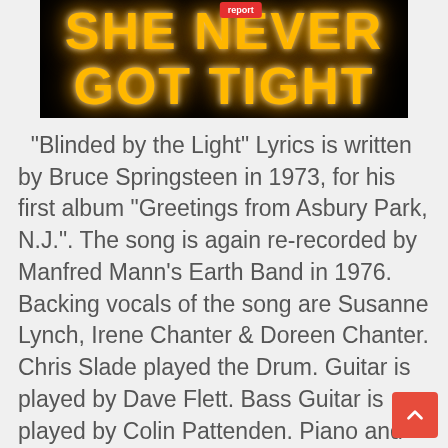[Figure (illustration): Black background image with large glowing yellow/orange neon-style text reading 'SHE NEVER GOT TIGHT' with a red badge/label at the top center]
"Blinded by the Light" Lyrics is written by Bruce Springsteen in 1973, for his first album "Greetings from Asbury Park, N.J.". The song is again re-recorded by Manfred Mann's Earth Band in 1976. Backing vocals of the song are Susanne Lynch, Irene Chanter & Doreen Chanter. Chris Slade played the Drum. Guitar is played by Dave Flett. Bass Guitar is played by Colin Pattenden. Piano and Organ is played by Manfred Mann. Manfred Mann played the keyboard or synthesizer. And